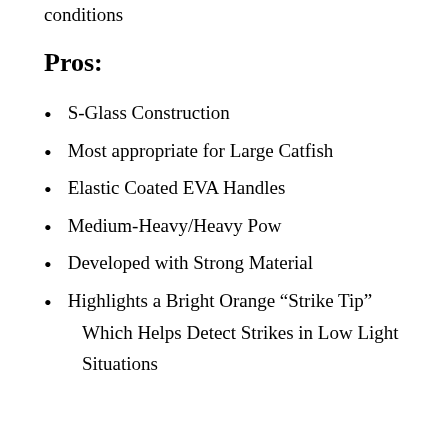conditions
Pros:
S-Glass Construction
Most appropriate for Large Catfish
Elastic Coated EVA Handles
Medium-Heavy/Heavy Pow
Developed with Strong Material
Highlights a Bright Orange “Strike Tip” Which Helps Detect Strikes in Low Light Situations